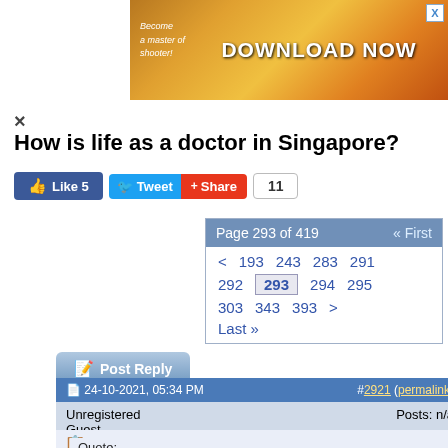[Figure (illustration): Advertisement banner: 'Become a master of shooter! DOWNLOAD NOW' with orange/golden gaming theme]
How is life as a doctor in Singapore?
Like 5  Tweet  Share  11
Page 293 of 419  « First  <  193  243  283  291  292  293  294  295  303  343  393  >  Last »
Post Reply
24-10-2021, 05:34 PM  #2921 (permalink)
Unregistered
Guest
Posts: n/a
Quote:
Originally Posted by Unregistered
Hi, i'm a local medical student, currently in y1. Did u study in a local